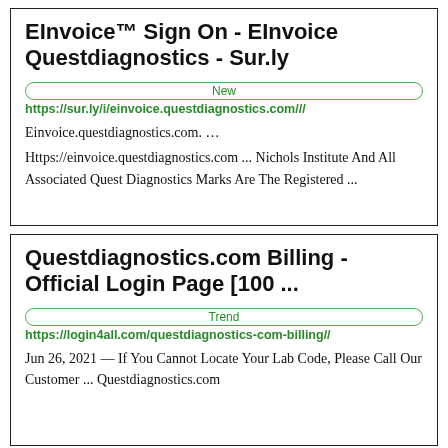EInvoice™ Sign On - EInvoice Questdiagnostics - Sur.ly
New
https://sur.ly/i/einvoice.questdiagnostics.com///
Einvoice.questdiagnostics.com. … Https://einvoice.questdiagnostics.com ... Nichols Institute And All Associated Quest Diagnostics Marks Are The Registered ...
Questdiagnostics.com Billing - Official Login Page [100 ...
Trend
https://login4all.com/questdiagnostics-com-billing//
Jun 26, 2021 — If You Cannot Locate Your Lab Code, Please Call Our Customer ... Questdiagnostics.com